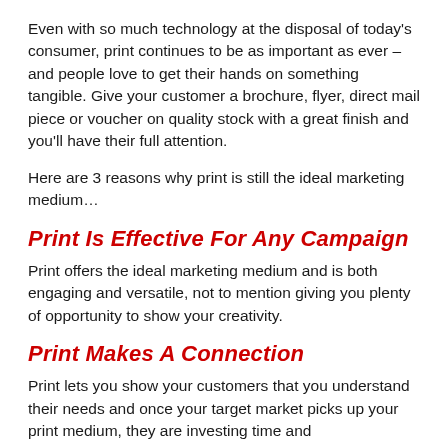Even with so much technology at the disposal of today's consumer, print continues to be as important as ever – and people love to get their hands on something tangible. Give your customer a brochure, flyer, direct mail piece or voucher on quality stock with a great finish and you'll have their full attention.
Here are 3 reasons why print is still the ideal marketing medium…
Print Is Effective For Any Campaign
Print offers the ideal marketing medium and is both engaging and versatile, not to mention giving you plenty of opportunity to show your creativity.
Print Makes A Connection
Print lets you show your customers that you understand their needs and once your target market picks up your print medium, they are investing time and